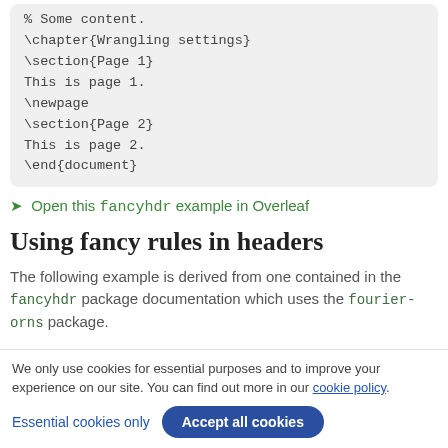% Some content.
\chapter{Wrangling settings}
\section{Page 1}
This is page 1.
\newpage
\section{Page 2}
This is page 2.
\end{document}
Open this fancyhdr example in Overleaf
Using fancy rules in headers
The following example is derived from one contained in the fancyhdr package documentation which uses the fourier-orns package.
We only use cookies for essential purposes and to improve your experience on our site. You can find out more in our cookie policy.
Essential cookies only | Accept all cookies